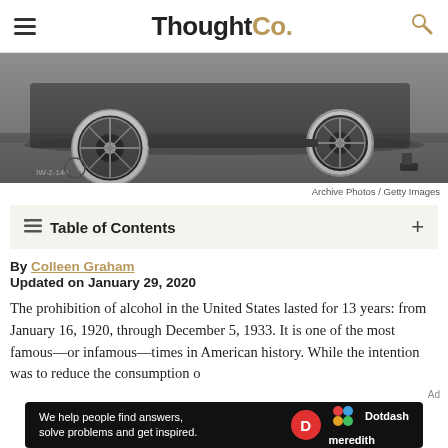ThoughtCo.
[Figure (photo): Black and white historical photo showing the lower portion of an early automobile with spoke wheels on a street pavement, with a person's foot visible at right. Handwritten label 'IW-2-146' in bottom left corner.]
Archive Photos / Getty Images
Table of Contents
By Colleen Graham
Updated on January 29, 2020
The prohibition of alcohol in the United States lasted for 13 years: from January 16, 1920, through December 5, 1933. It is one of the most famous—or infamous—times in American history. While the intention was to reduce the consumption o...